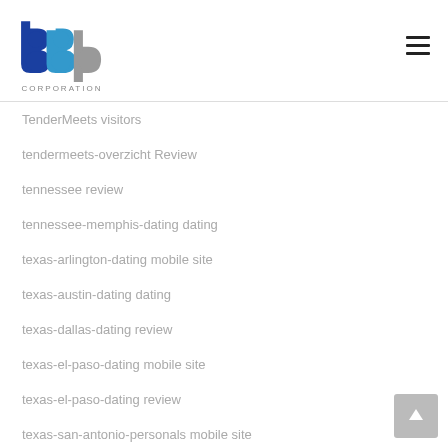[Figure (logo): BBP Corporation logo with blue and grey letter shapes spelling 'bbp' and text 'CORPORATION' below]
TenderMeets visitors
tendermeets-overzicht Review
tennessee review
tennessee-memphis-dating dating
texas-arlington-dating mobile site
texas-austin-dating dating
texas-dallas-dating review
texas-el-paso-dating mobile site
texas-el-paso-dating review
texas-san-antonio-personals mobile site